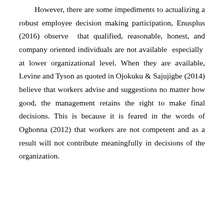However, there are some impediments to actualizing a robust employee decision making participation, Enusplus (2016) observe that qualified, reasonable, honest, and company oriented individuals are not available especially at lower organizational level. When they are available, Levine and Tyson as quoted in Ojokuku & Sajujigbe (2014) believe that workers advise and suggestions no matter how good, the management retains the right to make final decisions. This is because it is feared in the words of Ogbonna (2012) that workers are not competent and as a result will not contribute meaningfully in decisions of the organization.